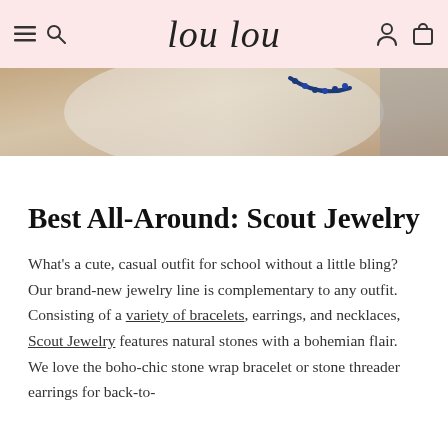lou lou
[Figure (photo): Close-up photo of a person wearing a beaded necklace with blue and white beads, partial view of clothing and neckline]
Best All-Around: Scout Jewelry
What's a cute, casual outfit for school without a little bling? Our brand-new jewelry line is complementary to any outfit. Consisting of a variety of bracelets, earrings, and necklaces, Scout Jewelry features natural stones with a bohemian flair. We love the boho-chic stone wrap bracelet or stone threader earrings for back-to-school looks.